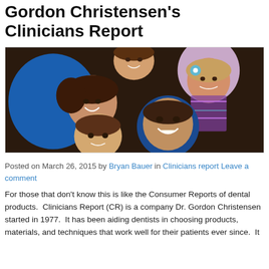Gordon Christensen's Clinicians Report
[Figure (photo): Family photo of a woman with brown hair in blue dress lying down with a man in blue shirt and three children, viewed from above, smiling.]
Posted on March 26, 2015 by Bryan Bauer in Clinicians report Leave a comment
For those that don't know this is like the Consumer Reports of dental products.  Clinicians Report (CR) is a company Dr. Gordon Christensen started in 1977.  It has been aiding dentists in choosing products, materials, and techniques that work well for their patients ever since.  It